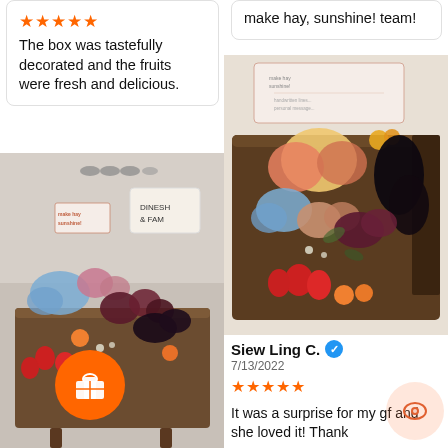★★★★★
The box was tastefully decorated and the fruits were fresh and delicious.
[Figure (photo): A fruit gift box with flowers labeled DINESH & FAM with a make hay sunshine brand card, containing strawberries, blackberries, plums, and oranges with blue hydrangeas and pink roses, on a wooden stand.]
make hay, sunshine! team!
[Figure (photo): A premium fruit box with a make hay sunshine card, containing apples, blackberries, plums, strawberries, physalis, and oranges with blue hydrangeas and peach roses arranged decoratively.]
Siew Ling C. ✓
7/13/2022
★★★★★
It was a surprise for my gf and she loved it! Thank